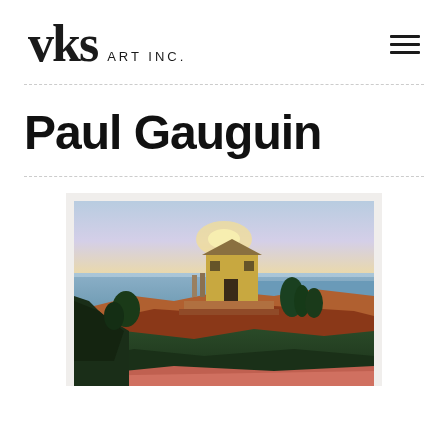vks ART INC.
Paul Gauguin
[Figure (illustration): A Gauguin-style Post-Impressionist landscape painting showing a yellow house on a cliff above the sea, with dark rocky terrain in the foreground, trees, and a pale sky at sunset.]